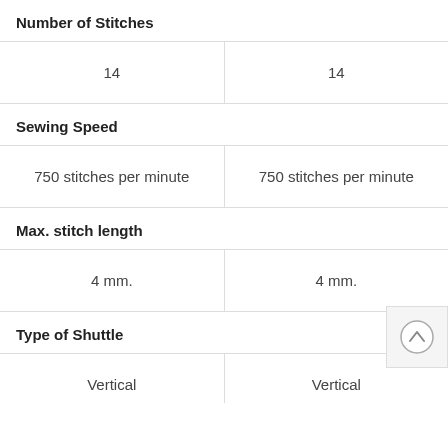Number of Stitches
| 14 | 14 |
| 750 stitches per minute | 750 stitches per minute |
| 4 mm. | 4 mm. |
| Vertical | Vertical |
Sewing Speed
Max. stitch length
Type of Shuttle